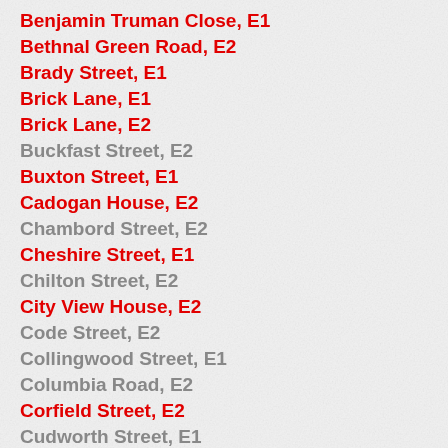Benjamin Truman Close, E1
Bethnal Green Road, E2
Brady Street, E1
Brick Lane, E1
Brick Lane, E2
Buckfast Street, E2
Buxton Street, E1
Cadogan House, E2
Chambord Street, E2
Cheshire Street, E1
Chilton Street, E2
City View House, E2
Code Street, E2
Collingwood Street, E1
Columbia Road, E2
Corfield Street, E2
Cudworth Street, E1
Cygnet Street, E1
Darling Row, E1